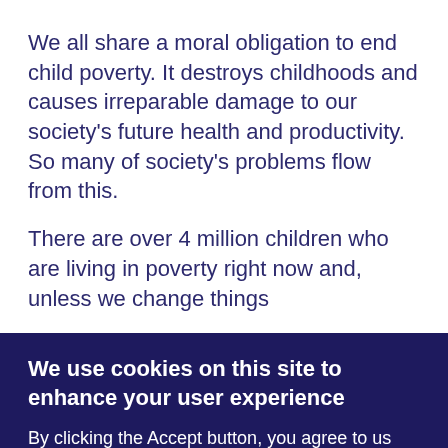We all share a moral obligation to end child poverty. It destroys childhoods and causes irreparable damage to our society's future health and productivity. So many of society's problems flow from this.
There are over 4 million children who are living in poverty right now and, unless we change things
We use cookies on this site to enhance your user experience
By clicking the Accept button, you agree to us doing so.
More info